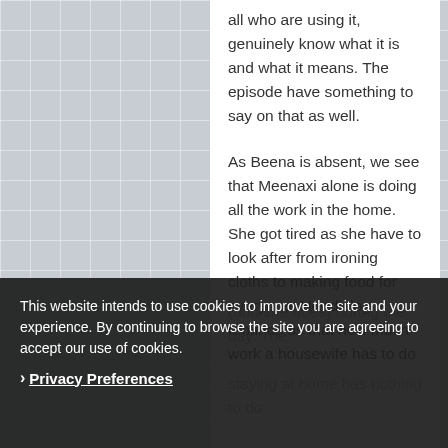all who are using it, genuinely know what it is and what it means. The episode have something to say on that as well.
As Beena is absent, we see that Meenaxi alone is doing all the work in the home. She got tired as she have to look after from ironing cloths to making food for everyone. Her dialog reminds us that how much work a housewife has to do
(and she does) during the day. The ... staying at home has nothing to do but take ... Beena do so. Ready! It is not the case anyway (for most of the
This website intends to use cookies to improve the site and your experience. By continuing to browse the site you are agreeing to accept our use of cookies.
Privacy Preferences